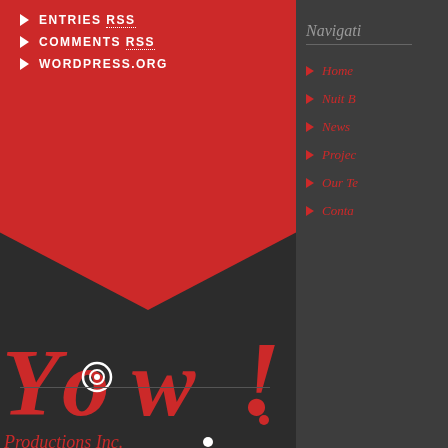ENTRIES RSS
COMMENTS RSS
WORDPRESS.ORG
[Figure (logo): YoW! Productions Inc. logo in red and white on dark background]
Navigati…
Home
Nuit B…
News
Projec…
Our Te…
Conta…